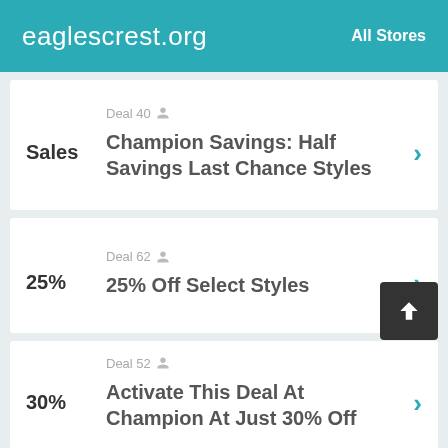eaglescrest.org   All Stores
Deal 40
Sales
Champion Savings: Half Savings Last Chance Styles
Deal 62
25%
25% Off Select Styles
Deal 52
30%
Activate This Deal At Champion At Just 30% Off